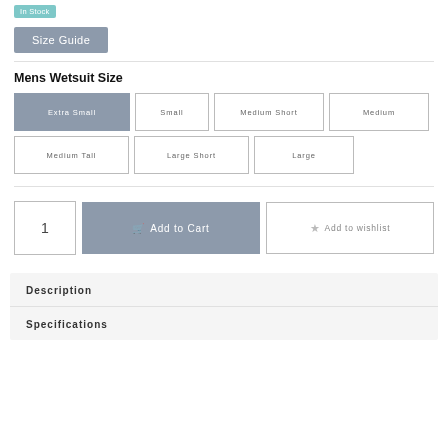In Stock
Size Guide
Mens Wetsuit Size
Extra Small | Small | Medium Short | Medium | Medium Tall | Large Short | Large
1
Add to Cart
Add to wishlist
Description
Specifications